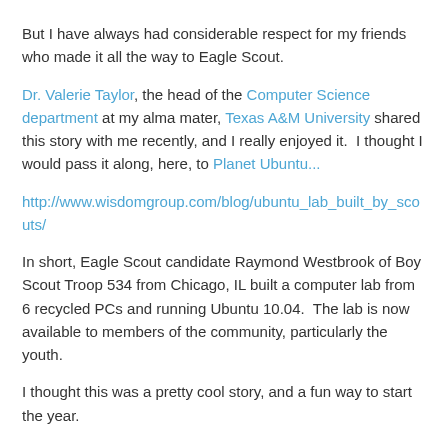But I have always had considerable respect for my friends who made it all the way to Eagle Scout.
Dr. Valerie Taylor, the head of the Computer Science department at my alma mater, Texas A&M University shared this story with me recently, and I really enjoyed it.  I thought I would pass it along, here, to Planet Ubuntu...
http://www.wisdomgroup.com/blog/ubuntu_lab_built_by_scouts/
In short, Eagle Scout candidate Raymond Westbrook of Boy Scout Troop 534 from Chicago, IL built a computer lab from 6 recycled PCs and running Ubuntu 10.04.  The lab is now available to members of the community, particularly the youth.
I thought this was a pretty cool story, and a fun way to start the year.